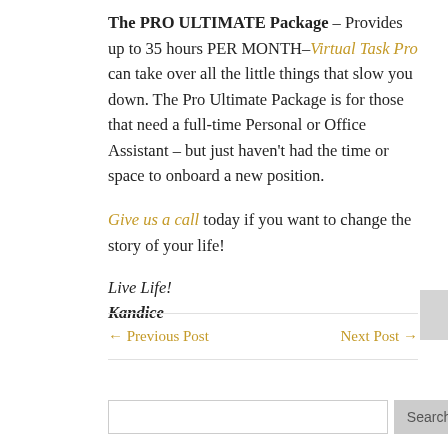The PRO ULTIMATE Package – Provides up to 35 hours PER MONTH–Virtual Task Pro can take over all the little things that slow you down. The Pro Ultimate Package is for those that need a full-time Personal or Office Assistant – but just haven't had the time or space to onboard a new position.

Give us a call today if you want to change the story of your life!

Live Life!
Kandice
← Previous Post    Next Post →